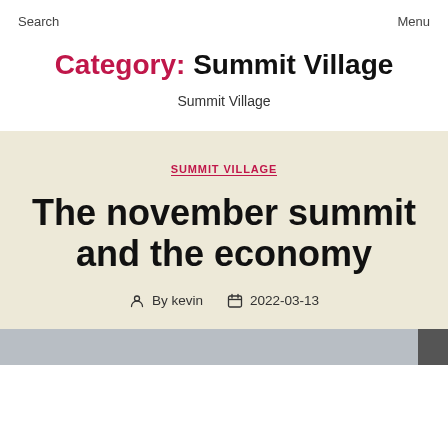Search   Menu
Category: Summit Village
Summit Village
SUMMIT VILLAGE
The november summit and the economy
By kevin   2022-03-13
[Figure (photo): Image strip at bottom of page, partially visible, gray/dark tones]